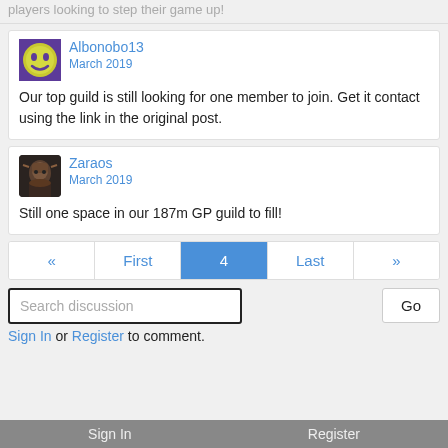players looking to step their game up!
Albonobo13
March 2019

Our top guild is still looking for one member to join. Get it contact using the link in the original post.
Zaraos
March 2019

Still one space in our 187m GP guild to fill!
« First 4 Last »
Search discussion
Sign In or Register to comment.
Sign In   Register